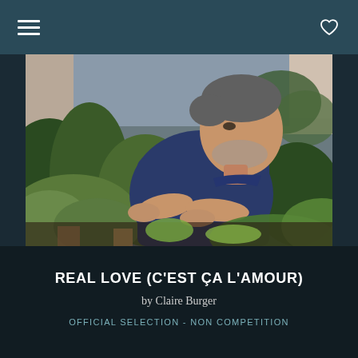[Figure (photo): A middle-aged man with gray stubble wearing a navy blue short-sleeve shirt, leaning over lush green garden plants with outstretched hands, photographed outdoors near a building]
REAL LOVE (C'EST ÇA L'AMOUR)
by Claire Burger
OFFICIAL SELECTION - NON COMPETITION